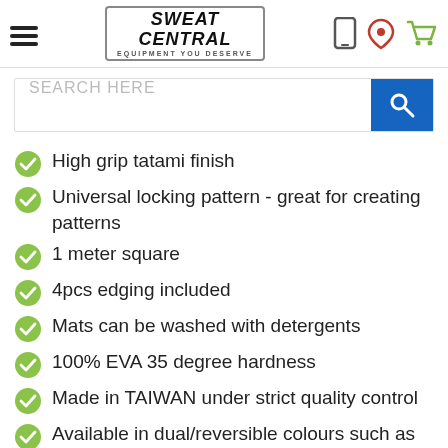SWEAT CENTRAL — EQUIPMENT YOU DESERVE
High grip tatami finish
Universal locking pattern - great for creating patterns
1 meter square
4pcs edging included
Mats can be washed with detergents
100% EVA 35 degree hardness
Made in TAIWAN under strict quality control
Available in dual/reversible colours such as black/blue or black/red or black/grey
Deep Jigsaw pattern to eliminate mats pulling apart when in use